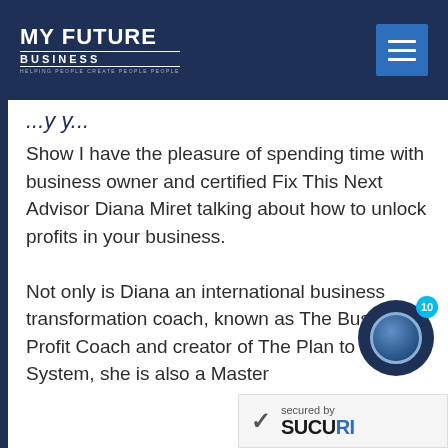MY FUTURE BUSINESS
Show I have the pleasure of spending time with business owner and certified Fix This Next Advisor Diana Miret talking about how to unlock profits in your business.
Not only is Diana an international business transformation coach, known as The Business Profit Coach and creator of The Plan to P[rofit] System, she is also a Master
[Figure (logo): Circular badge/icon with navy background and blue inner circle]
[Figure (other): Sucuri website security badge reading 'secured by SUCURI']